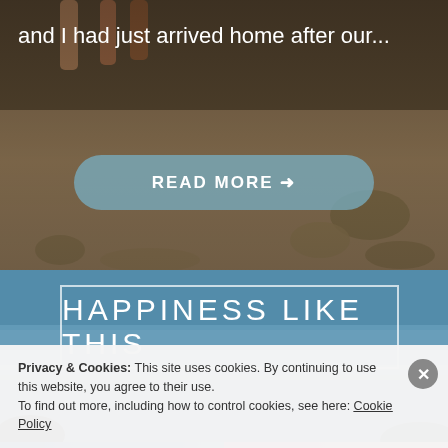[Figure (photo): Beach scene with sandy shore, rocks, and figures at top. Ocean visible in lower section. Dark overlay tint on upper beach photo.]
and I had just arrived home after our...
READ MORE →
HAPPINESS LIKE THIS
Privacy & Cookies: This site uses cookies. By continuing to use this website, you agree to their use.
To find out more, including how to control cookies, see here: Cookie Policy
Close and accept